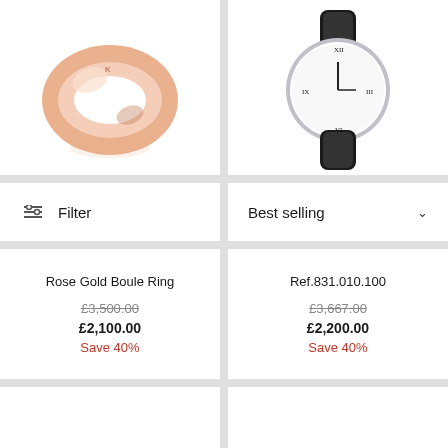[Figure (photo): Rose gold ring product photo on white background]
[Figure (photo): Watch with white dial and black leather strap on white background]
Filter
Best selling
Rose Gold Boule Ring
£3,500.00
£2,100.00
Save 40%
Ref.831.010.100
£3,667.00
£2,200.00
Save 40%
[Figure (photo): Empty white product image placeholder]
[Figure (photo): Empty white product image placeholder]